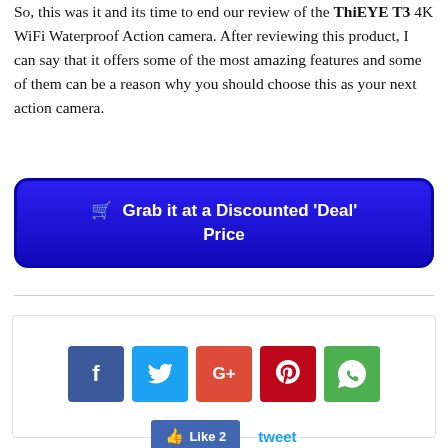So, this was it and its time to end our review of the ThiEYE T3 4K WiFi Waterproof Action camera. After reviewing this product, I can say that it offers some of the most amazing features and some of them can be a reason why you should choose this as your next action camera.
[Figure (other): Blue rounded button with shopping cart icon and text: Grab it at a Discounted 'Deal' Price]
[Figure (other): Social sharing widget with Facebook, Twitter, Google+, Pinterest, WhatsApp icons and Facebook Like (2) button and tweet link]